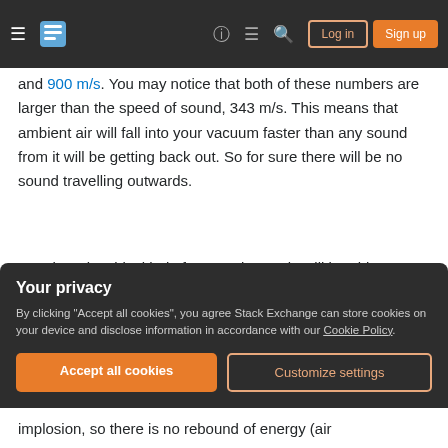Stack Exchange navigation bar with hamburger menu, logo, help, chat, search icons, Log in and Sign up buttons
and 900 m/s. You may notice that both of these numbers are larger than the speed of sound, 343 m/s. This means that ambient air will fall into your vacuum faster than any sound from it will be getting back out. So for sure there will be no sound travelling outwards.
Your hero is a blackhole for sound. People will be able to see what your hero is doing, but not hear anything he is doing. This is because the direction of sound travel is only towards the hero, not away from him/her.
Your privacy
By clicking "Accept all cookies", you agree Stack Exchange can store cookies on your device and disclose information in accordance with our Cookie Policy.
Accept all cookies
Customize settings
implosion, so there is no rebound of energy (air